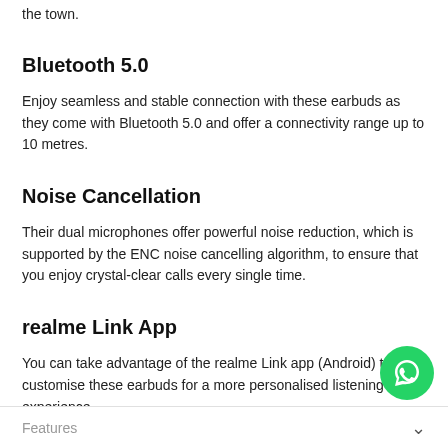the town.
Bluetooth 5.0
Enjoy seamless and stable connection with these earbuds as they come with Bluetooth 5.0 and offer a connectivity range up to 10 metres.
Noise Cancellation
Their dual microphones offer powerful noise reduction, which is supported by the ENC noise cancelling algorithm, to ensure that you enjoy crystal-clear calls every single time.
realme Link App
You can take advantage of the realme Link app (Android) to customise these earbuds for a more personalised listening experience.
Features